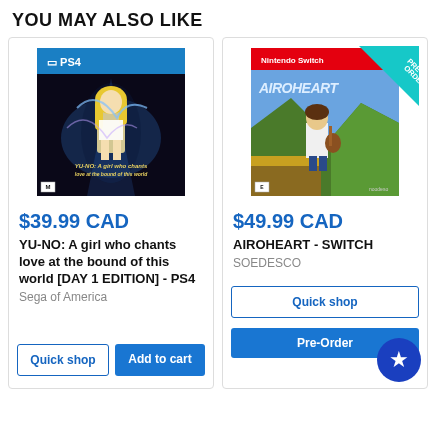YOU MAY ALSO LIKE
[Figure (photo): PS4 game cover for YU-NO: A girl who chants love at the bound of this world DAY 1 EDITION]
$39.99 CAD
YU-NO: A girl who chants love at the bound of this world [DAY 1 EDITION] - PS4
Sega of America
Quick shop
Add to cart
[Figure (photo): Nintendo Switch game cover for AIROHEART with PRE-ORDER badge in corner]
$49.99 CAD
AIROHEART - SWITCH
SOEDESCO
Quick shop
Pre-Order